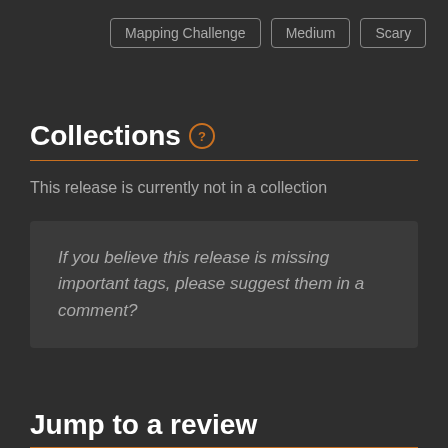Mapping Challenge
Medium
Scary
Collections (?)
This release is currently not in a collection
If you believe this release is missing important tags, please suggest them in a comment?
Jump to a review